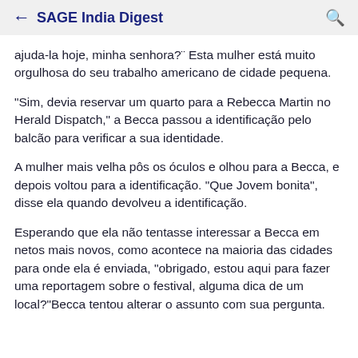← SAGE India Digest 🔍
ajuda-la hoje, minha senhora?¨ Esta mulher está muito orgulhosa do seu trabalho americano de cidade pequena.
"Sim, devia reservar um quarto para a Rebecca Martin no Herald Dispatch," a Becca passou a identificação pelo balcão para verificar a sua identidade.
A mulher mais velha pôs os óculos e olhou para a Becca, e depois voltou para a identificação. "Que Jovem bonita", disse ela quando devolveu a identificação.
Esperando que ela não tentasse interessar a Becca em netos mais novos, como acontece na maioria das cidades para onde ela é enviada, "obrigado, estou aqui para fazer uma reportagem sobre o festival, alguma dica de um local?"Becca tentou alterar o assunto com sua pergunta.